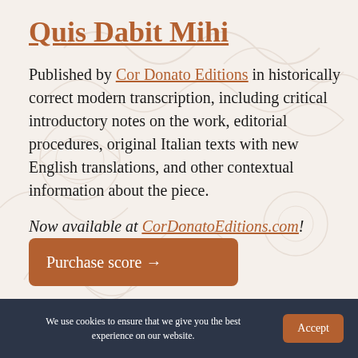Quis Dabit Mihi
Published by Cor Donato Editions in historically correct modern transcription, including critical introductory notes on the work, editorial procedures, original Italian texts with new English translations, and other contextual information about the piece.
Now available at CorDonatoEditions.com!
Purchase score →
We use cookies to ensure that we give you the best experience on our website.